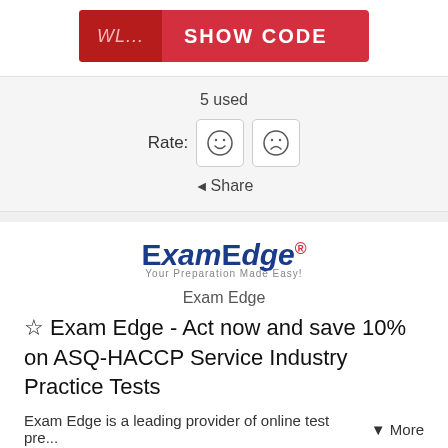[Figure (screenshot): Red button showing 'WL... SHOW CODE' with dark red left tab]
5 used
Rate: ☺ ☹
◄ Share
[Figure (logo): ExamEdge logo with blue and red text and tagline]
Exam Edge
☆ Exam Edge - Act now and save 10% on ASQ-HACCP Service Industry Practice Tests
Exam Edge is a leading provider of online test pre...  ▼ More
Expires 24.05.2025